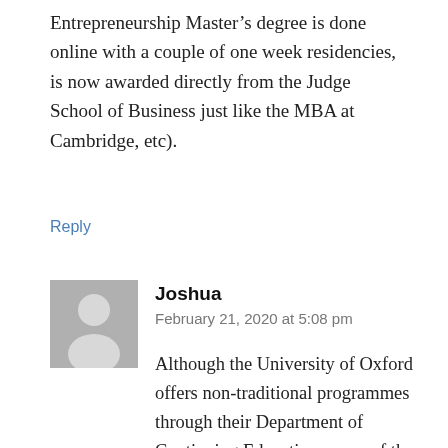Entrepreneurship Master’s degree is done online with a couple of one week residencies, is now awarded directly from the Judge School of Business just like the MBA at Cambridge, etc).
Reply
[Figure (illustration): Generic user avatar icon showing silhouette of a person on a grey background]
Joshua
February 21, 2020 at 5:08 pm
Although the University of Oxford offers non-traditional programmes through their Department of Continuing Education, some of the degrees you can earn